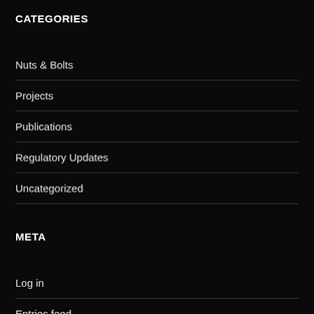CATEGORIES
Nuts & Bolts
Projects
Publications
Regulatory Updates
Uncategorized
META
Log in
Entries feed
Comments feed